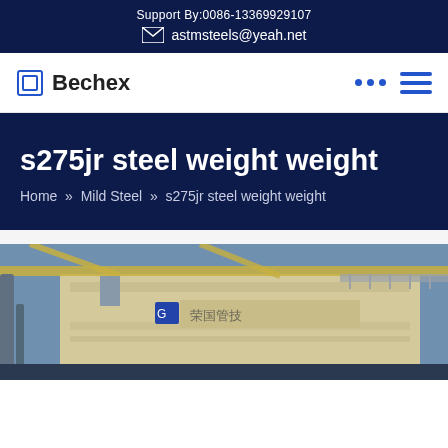Support By:0086-13369929107
astmsteels@yeah.net
Bechex
s275jr steel weight weight
Home » Mild Steel » s275jr steel weight weight
[Figure (photo): Industrial steel building/facility exterior with overhead crane structure, yellow diagonal crane beams, Chinese signage on a light-colored building facade, pipes and industrial equipment visible.]